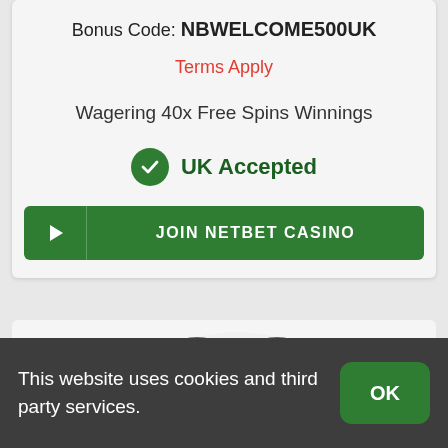Bonus Code: NBWELCOME500UK
Terms Apply
Wagering 40x Free Spins Winnings
[Figure (infographic): Green circle with white checkmark icon next to 'UK Accepted' text in dark green]
[Figure (infographic): Green button with play triangle icon on left and 'JOIN NETBET CASINO' text in white capitals]
[Figure (illustration): Colorful butterfly-like slot game graphic in purple, blue and yellow tones]
This website uses cookies and third party services.
OK